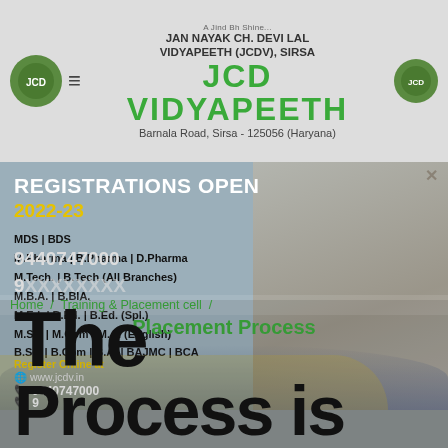JAN NAYAK CH. DEVI LAL VIDYAPEETH (JCDV), SIRSA
Barnala Road, Sirsa - 125056 (Haryana)
[Figure (screenshot): University admission advertisement banner showing REGISTRATIONS OPEN 2022-23 with courses: MDS|BDS, M.Pharma|B.Pharma|D.Pharma, M.Tech.|B.Tech (All Branches), M.B.A.|B.BIA., M.Ed.|B.Ed.|B.Ed.(Spl.), M.Sc.|M.Com|M.A.(English), B.Sc.|B.Com|B.A.|BAJMC|BCA. Register Online at www.jcdv.in, phone 9440747000, 9440747000. Female student holding books on the right.]
Home  /  Training & Placement cell  /
Placement Process
The
Process is